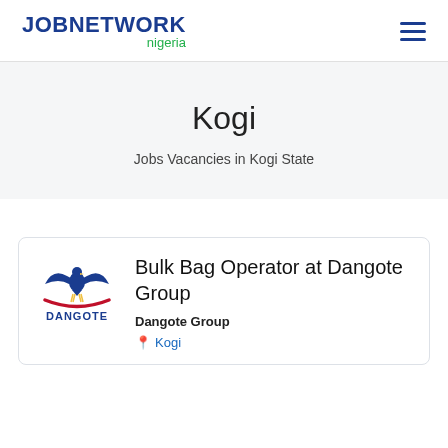JOBNETWORK nigeria
Kogi
Jobs Vacancies in Kogi State
Bulk Bag Operator at Dangote Group
Dangote Group
Kogi